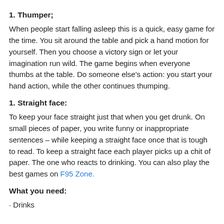1. Thumper;
When people start falling asleep this is a quick, easy game for the time. You sit around the table and pick a hand motion for yourself. Then you choose a victory sign or let your imagination run wild. The game begins when everyone thumbs at the table. Do someone else's action: you start your hand action, while the other continues thumping.
1. Straight face:
To keep your face straight just that when you get drunk. On small pieces of paper, you write funny or inappropriate sentences – while keeping a straight face once that is tough to read. To keep a straight face each player picks up a chit of paper. The one who reacts to drinking. You can also play the best games on F95 Zone.
What you need:
· Drinks